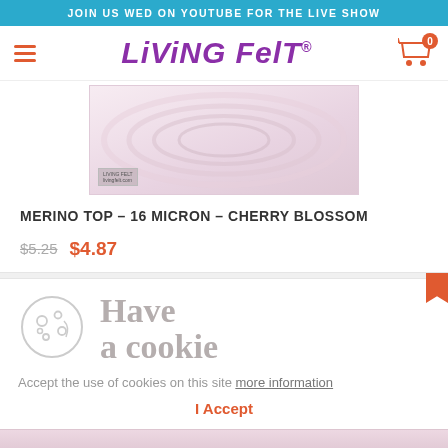JOIN US WED ON YOUTUBE FOR THE LIVE SHOW
LiViNG FelT
[Figure (photo): Close-up photo of pink/rose cherry blossom colored merino wool top fiber, showing rolled/coiled texture with a small label in lower left corner.]
MERINO TOP – 16 MICRON – CHERRY BLOSSOM
$5.25  $4.87
Have
a cookie
Accept the use of cookies on this site more information
I Accept